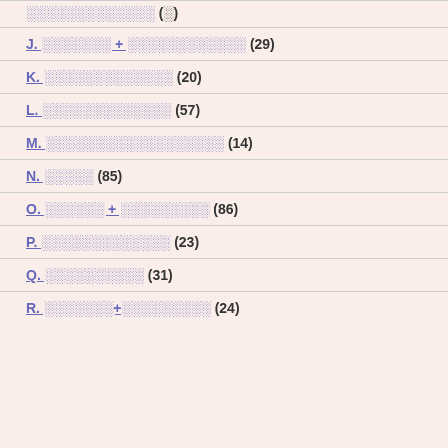J. [redacted] + [redacted] (29)
K. [redacted] (20)
L. [redacted] (57)
M. [redacted] (14)
N. [redacted] (85)
O. [redacted] + [redacted] (86)
P. [redacted] (23)
Q. [redacted] (31)
R. [redacted]+[redacted] (24)